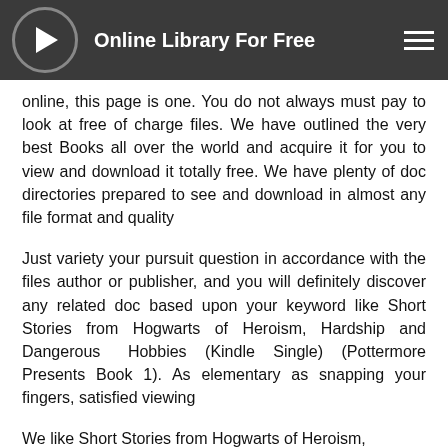Online Library For Free
online, this page is one. You do not always must pay to look at free of charge files. We have outlined the very best Books all over the world and acquire it for you to view and download it totally free. We have plenty of doc directories prepared to see and download in almost any file format and quality
Just variety your pursuit question in accordance with the files author or publisher, and you will definitely discover any related doc based upon your keyword like Short Stories from Hogwarts of Heroism, Hardship and Dangerous Hobbies (Kindle Single) (Pottermore Presents Book 1). As elementary as snapping your fingers, satisfied viewing
We like Short Stories from Hogwarts of Heroism,